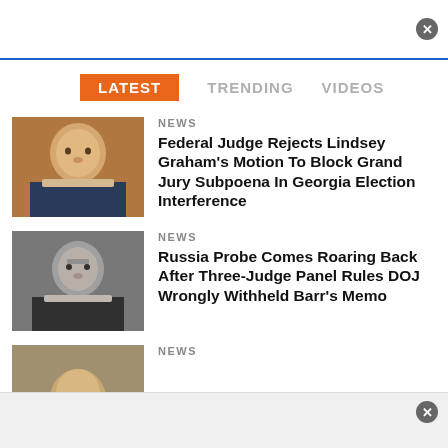[Figure (screenshot): Top navigation bar with close button (X)]
LATEST   TRENDING   VIDEOS
[Figure (photo): Photo of Lindsey Graham]
NEWS
Federal Judge Rejects Lindsey Graham's Motion To Block Grand Jury Subpoena In Georgia Election Interference
[Figure (photo): Photo of William Barr]
NEWS
Russia Probe Comes Roaring Back After Three-Judge Panel Rules DOJ Wrongly Withheld Barr's Memo
[Figure (photo): Partial photo of a person (cropped)]
NEWS
[Figure (screenshot): Bottom bar with close button (X)]